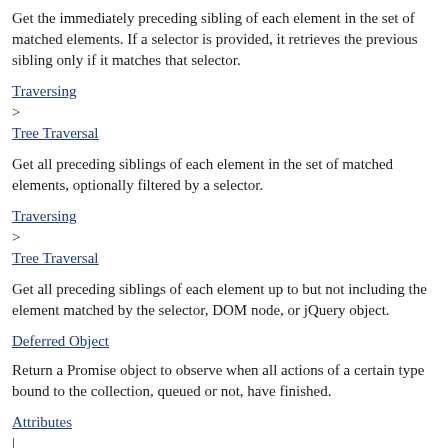Get the immediately preceding sibling of each element in the set of matched elements. If a selector is provided, it retrieves the previous sibling only if it matches that selector.
Traversing
>
Tree Traversal
Get all preceding siblings of each element in the set of matched elements, optionally filtered by a selector.
Traversing
>
Tree Traversal
Get all preceding siblings of each element up to but not including the element matched by the selector, DOM node, or jQuery object.
Deferred Object
Return a Promise object to observe when all actions of a certain type bound to the collection, queued or not, have finished.
Attributes
|
Manipulation